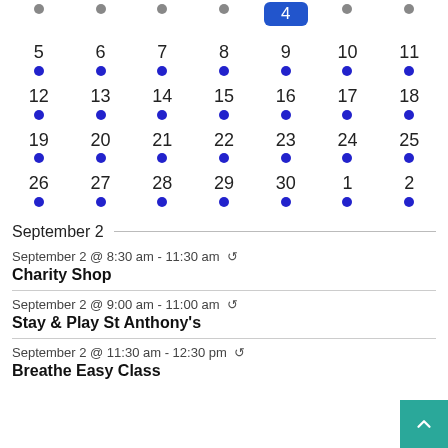[Figure (other): Calendar grid showing dates with blue dot indicators. Partial top row visible, then rows for 5-11, 12-18, 19-25, 26-2, with blue dots under each date. Date 4 is highlighted in blue.]
September 2
September 2 @ 8:30 am - 11:30 am ↺
Charity Shop
September 2 @ 9:00 am - 11:00 am ↺
Stay & Play St Anthony's
September 2 @ 11:30 am - 12:30 pm ↺
Breathe Easy Class